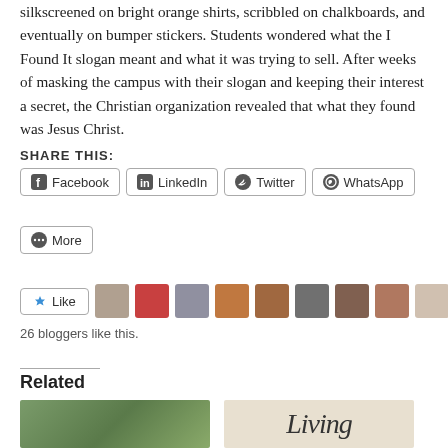silkscreened on bright orange shirts, scribbled on chalkboards, and eventually on bumper stickers. Students wondered what the I Found It slogan meant and what it was trying to sell. After weeks of masking the campus with their slogan and keeping their interest a secret, the Christian organization revealed that what they found was Jesus Christ.
SHARE THIS:
Facebook
LinkedIn
Twitter
WhatsApp
More
[Figure (other): Like button and 10 blogger avatar thumbnails]
26 bloggers like this.
Related
[Figure (photo): Two related article thumbnail images side by side]